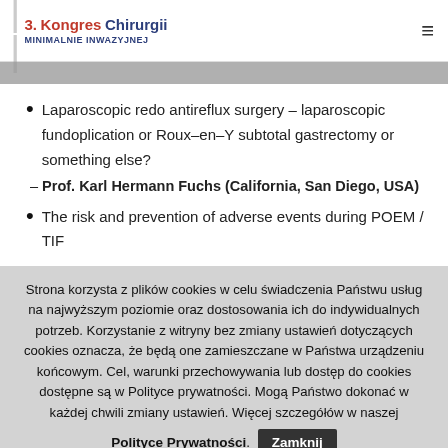3. Kongres Chirurgii Minimalnie Inwazyjnej
Laparoscopic redo antireflux surgery – laparoscopic fundoplication or Roux–en–Y subtotal gastrectomy or something else?
– Prof. Karl Hermann Fuchs (California, San Diego, USA)
The risk and prevention of adverse events during POEM / TIF
Strona korzysta z plików cookies w celu świadczenia Państwu usług na najwyższym poziomie oraz dostosowania ich do indywidualnych potrzeb. Korzystanie z witryny bez zmiany ustawień dotyczących cookies oznacza, że będą one zamieszczane w Państwa urządzeniu końcowym. Cel, warunki przechowywania lub dostęp do cookies dostępne są w Polityce prywatności. Mogą Państwo dokonać w każdej chwili zmiany ustawień. Więcej szczegółów w naszej Polityce Prywatności. Zamknij